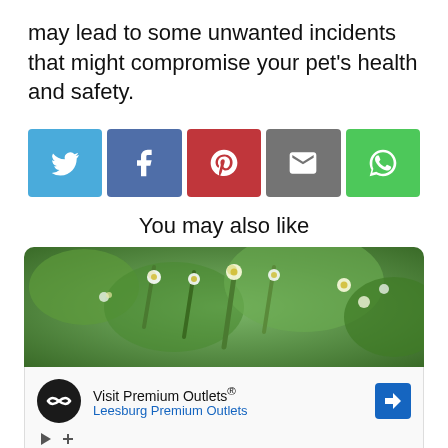may lead to some unwanted incidents that might compromise your pet's health and safety.
[Figure (infographic): Social share buttons: Twitter (blue), Facebook (dark blue), Pinterest (red), Email (grey), WhatsApp (green)]
You may also like
[Figure (photo): Close-up photo of green plants with small white and yellow flowers]
[Figure (infographic): Advertisement: Visit Premium Outlets® - Leesburg Premium Outlets, with logo and navigation arrow]